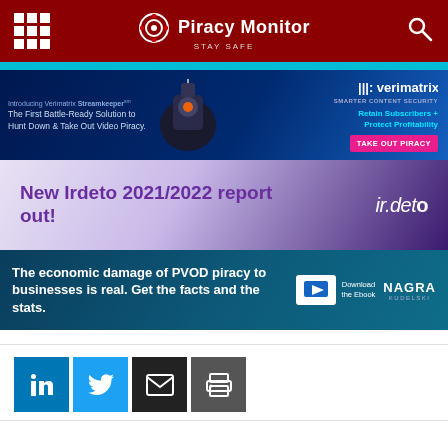Piracy Monitor — STAY SAFE
[Figure (screenshot): Verimatrix Streamkeeper advertisement banner — dark blue background with robot image, text: Introducing Verimatrix Streamkeeper. The First Battle-Ready Solution to Hunt Down & Take Out Video Piracy. Retain Subscribers + Protect Profitability. TAKE OUT PIRACY button. Verimatrix logo.]
[Figure (screenshot): Irdeto advertisement banner — purple gradient background, text: New Irdeto 2021/2022 report out! irdeto logo.]
[Figure (screenshot): Nagra Kudelski advertisement banner — dark teal background, text: The economic damage of PVOD piracy to businesses is real. Get the facts and the stats. Download the Ebook. NAGRA KUDELSKI logo.]
[Figure (screenshot): Social share buttons: LinkedIn (blue), Twitter (light blue), Email (dark), Print (grey)]
Previous article
Bleeping Computer: Verizon Fines Pure...
Next article
Piracy and the Fifth Age of Video Analytics...